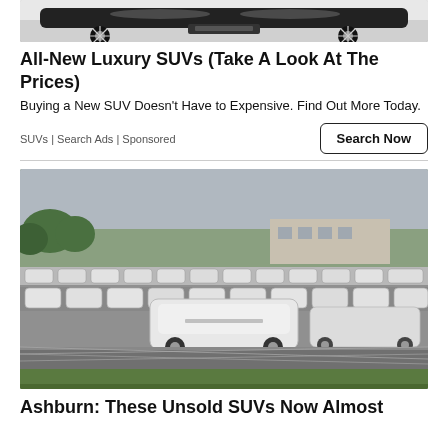[Figure (photo): Top portion of a luxury black SUV against white background, showing roof and wheels]
All-New Luxury SUVs (Take A Look At The Prices)
Buying a New SUV Doesn't Have to Expensive. Find Out More Today.
SUVs | Search Ads | Sponsored
[Figure (photo): Large parking lot full of white/silver unsold SUVs, overcast sky, trees in background, chain-link fence in foreground]
Ashburn: These Unsold SUVs Now Almost